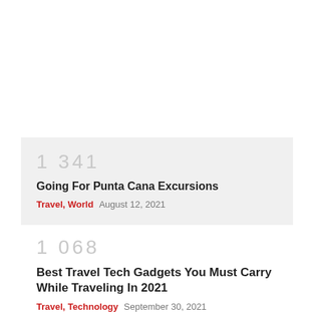1 341
Going For Punta Cana Excursions
Travel, World   August 12, 2021
1 068
Best Travel Tech Gadgets You Must Carry While Traveling In 2021
Travel, Technology   September 30, 2021